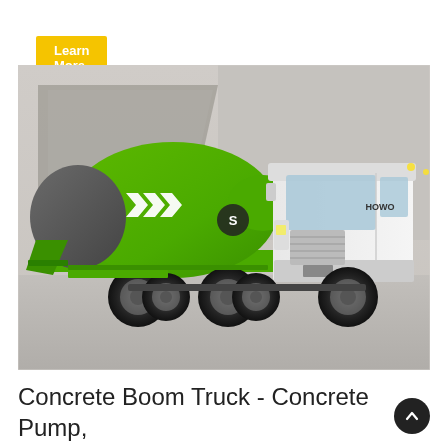Learn More
[Figure (photo): A green and white HOWO concrete mixer truck with a large green rotating drum bearing white chevron arrows and an 'S' logo, parked in front of a concrete wall background.]
Concrete Boom Truck - Concrete Pump, Concrete Mixer Truck